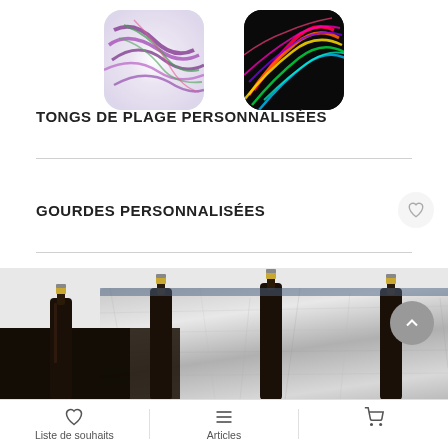[Figure (photo): Two personalized beach flip-flops/tongs: one with purple and multicolor swirl design, one with neon/rainbow on black background, both with rounded rectangular shapes]
TONGS DE PLAGE PERSONNALISÉES
GOURDES PERSONNALISÉES
[Figure (photo): Insulated silver metallic cooler bag with several glass bottles sticking up from it]
Liste de souhaits   Articles   [cart icon]